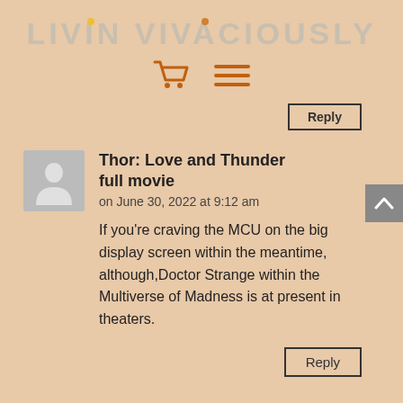LIVIN VIVACIOUSLY
[Figure (illustration): Shopping cart icon and hamburger menu icon in orange/brown color]
Reply
Thor: Love and Thunder full movie
on June 30, 2022 at 9:12 am

If you’re craving the MCU on the big display screen within the meantime, although,Doctor Strange within the Multiverse of Madness is at present in theaters.
Reply